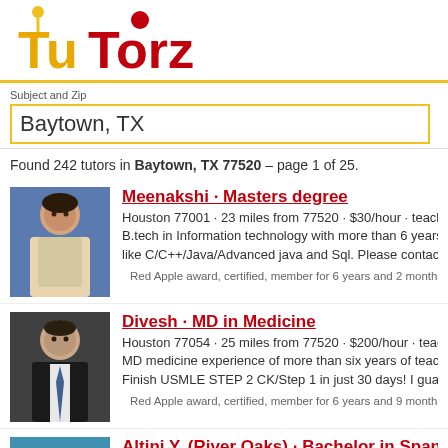[Figure (logo): TuTorz logo with yellow and red text and small figure icon]
Subject and Zip
Baytown, TX
Found 242 tutors in Baytown, TX 77520 – page 1 of 25.
Meenakshi · Masters degree
Houston 77001 · 23 miles from 77520 · $30/hour · teaches ...
B.tech in Information technology with more than 6 years of e... like C/C++/Java/Advanced java and Sql. Please contact me...
Red Apple award, certified, member for 6 years and 2 months
Divesh · MD in Medicine
Houston 77054 · 25 miles from 77520 · $200/hour · teaches...
MD medicine experience of more than six years of teaching... Finish USMLE STEP 2 CK/Step 1 in just 30 days! I guarante...
Red Apple award, certified, member for 6 years and 9 months
Altini Y. (River Oaks) · Bachelor in Spanish
League City 77573 · 19 miles from 77520 · $40/hour · teach...